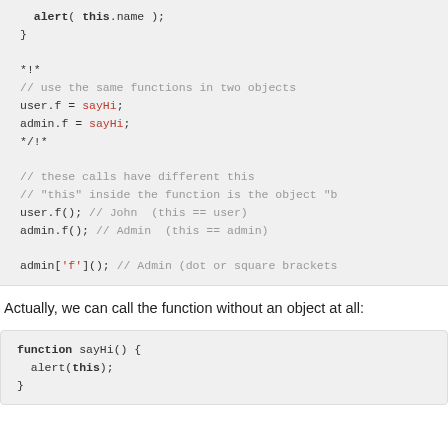[Figure (screenshot): Code block showing JavaScript: alert( this.name ); }, *!* comment block with // use the same functions in two objects, user.f = sayHi; admin.f = sayHi; */!*, then // these calls have different this, // "this" inside the function is the object "b, user.f(); // John  (this == user), admin.f(); // Admin  (this == admin), admin['f'](); // Admin (dot or square brackets]
Actually, we can call the function without an object at all:
[Figure (screenshot): Code block showing: function sayHi() { alert(this); }]